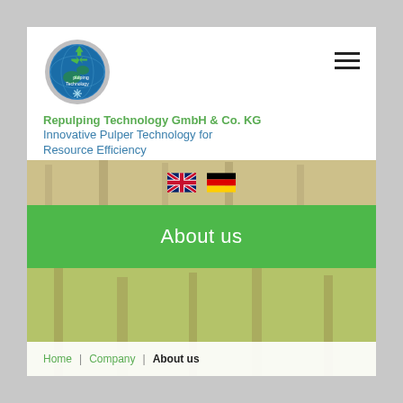[Figure (logo): Repulping Technology GmbH & Co. KG circular logo with recycling symbol and blue globe]
Repulping Technology GmbH & Co. KG
Innovative Pulper Technology for Resource Efficiency
[Figure (infographic): Forest background strip with UK and German flag icons for language selection]
About us
[Figure (photo): Forest/trees background image strip]
Home | Company | About us